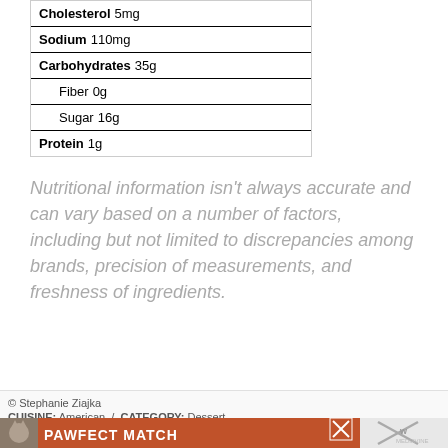| Cholesterol | 5mg |
| Sodium | 110mg |
| Carbohydrates | 35g |
| Fiber | 0g |
| Sugar | 16g |
| Protein | 1g |
Nutritional information isn't always accurate and can vary based on a number of factors, including but not limited to discrepancies among brands, precision of measurements, and freshness of ingredients.
© Stephanie Ziajka
CUISINE: American / CATEGORY: Dessert
[Figure (infographic): PAWFECT MATCH advertisement banner with cat image on orange/red background]